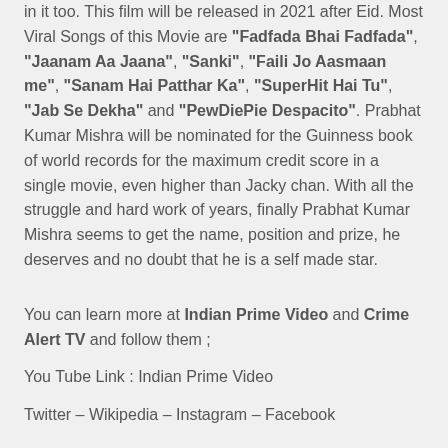in it too. This film will be released in 2021 after Eid. Most Viral Songs of this Movie are "Fadfada Bhai Fadfada", "Jaanam Aa Jaana", "Sanki", "Faili Jo Aasmaan me", "Sanam Hai Patthar Ka", "SuperHit Hai Tu", "Jab Se Dekha" and "PewDiePie Despacito". Prabhat Kumar Mishra will be nominated for the Guinness book of world records for the maximum credit score in a single movie, even higher than Jacky chan. With all the struggle and hard work of years, finally Prabhat Kumar Mishra seems to get the name, position and prize, he deserves and no doubt that he is a self made star.
You can learn more at Indian Prime Video and Crime Alert TV and follow them ;
You Tube Link : Indian Prime Video
Twitter – Wikipedia – Instagram – Facebook